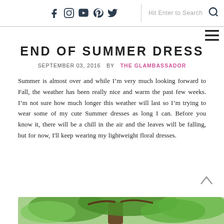Social icons: f, Instagram, YouTube, Pinterest, Twitter | Hit Enter to Search
END OF SUMMER DRESS
SEPTEMBER 03, 2016  BY  THE GLAMBASSADOR
Summer is almost over and while I’m very much looking forward to Fall, the weather has been really nice and warm the past few weeks. I’m not sure how much longer this weather will last so I’m trying to wear some of my cute Summer dresses as long I can. Before you know it, there will be a chill in the air and the leaves will be falling, but for now, I'll keep wearing my lightweight floral dresses.
[Figure (photo): Outdoor photo showing green tree branches and foliage]